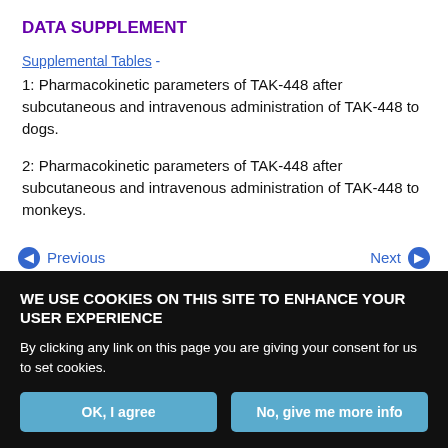DATA SUPPLEMENT
Supplemental Tables -
1:  Pharmacokinetic parameters of TAK-448 after subcutaneous and intravenous administration of TAK-448 to dogs.
2:  Pharmacokinetic parameters of TAK-448 after subcutaneous and intravenous administration of TAK-448 to monkeys.
◀ Previous    Next ▶
⌃ Back to top
In this issue
WE USE COOKIES ON THIS SITE TO ENHANCE YOUR USER EXPERIENCE
By clicking any link on this page you are giving your consent for us to set cookies.
OK, I agree    No, give me more info